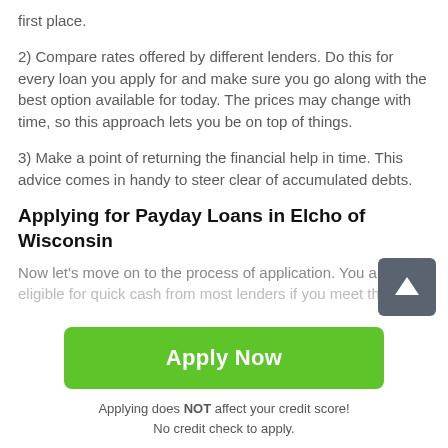first place.
2) Compare rates offered by different lenders. Do this for every loan you apply for and make sure you go along with the best option available for today. The prices may change with time, so this approach lets you be on top of things.
3) Make a point of returning the financial help in time. This advice comes in handy to steer clear of accumulated debts.
Applying for Payday Loans in Elcho of Wisconsin
Now let's move on to the process of application. You are eligible for quick cash from most lenders if you meet the
Apply Now
Applying does NOT affect your credit score!
No credit check to apply.